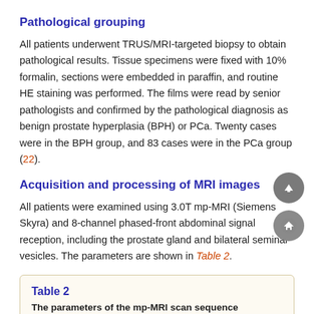Pathological grouping
All patients underwent TRUS/MRI-targeted biopsy to obtain pathological results. Tissue specimens were fixed with 10% formalin, sections were embedded in paraffin, and routine HE staining was performed. The films were read by senior pathologists and confirmed by the pathological diagnosis as benign prostate hyperplasia (BPH) or PCa. Twenty cases were in the BPH group, and 83 cases were in the PCa group (22).
Acquisition and processing of MRI images
All patients were examined using 3.0T mp-MRI (Siemens Skyra) and 8-channel phased-front abdominal signal reception, including the prostate gland and bilateral seminal vesicles. The parameters are shown in Table 2.
Table 2
The parameters of the mp-MRI scan sequence